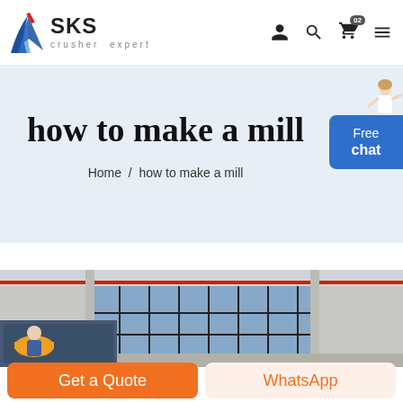[Figure (logo): SKS crusher expert logo with blue wing/blade graphic and icons (person, search, cart, menu) in header]
how to make a mill
Home / how to make a mill
[Figure (photo): Interior of a large industrial factory/warehouse building with blue windows and metal structure]
Get a Quote
WhatsApp